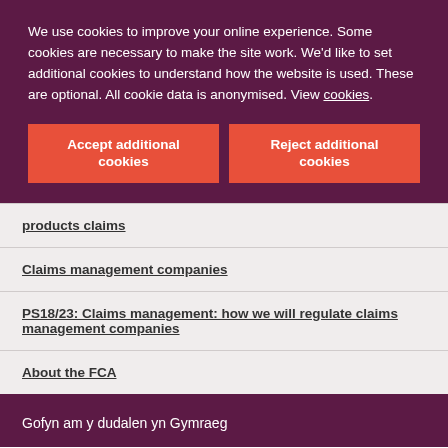We use cookies to improve your online experience. Some cookies are necessary to make the site work. We'd like to set additional cookies to understand how the website is used. These are optional. All cookie data is anonymised. View cookies.
Accept additional cookies
Reject additional cookies
products claims
Claims management companies
PS18/23: Claims management: how we will regulate claims management companies
About the FCA
Gofyn am y dudalen yn Gymraeg